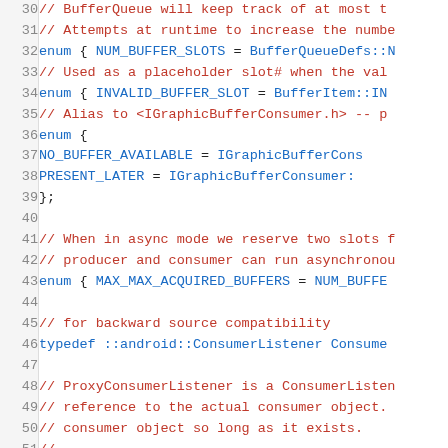[Figure (screenshot): Source code listing showing C++ header file lines 30-51 with line numbers, keywords in blue, comments in red/dark red, and code in monospace font. Contains enum definitions, typedef, and comments about BufferQueue, async mode, and ProxyConsumerListener.]